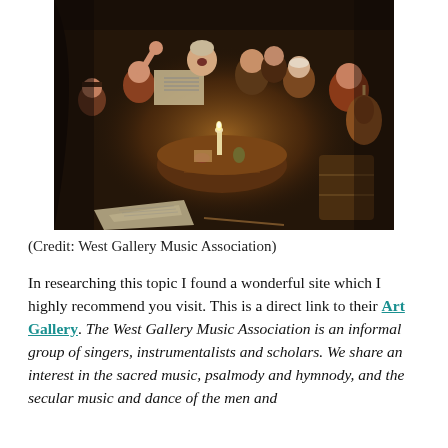[Figure (illustration): An oil painting depicting a group of people gathered indoors around a table with a candle, engaged in singing and playing instruments. The scene is dimly lit, with figures holding sheet music. A guitar is visible on the right and scattered papers on the floor.]
(Credit: West Gallery Music Association)
In researching this topic I found a wonderful site which I highly recommend you visit. This is a direct link to their Art Gallery. The West Gallery Music Association is an informal group of singers, instrumentalists and scholars. We share an interest in the sacred music, psalmody and hymnody, and the secular music and dance of the men and